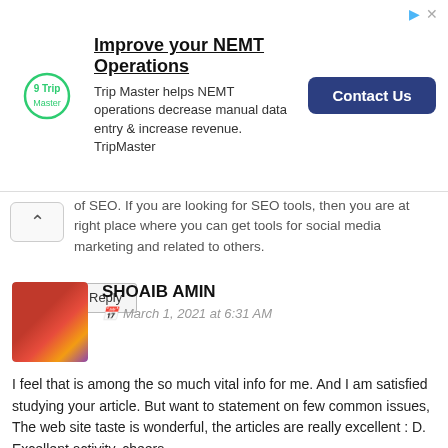[Figure (other): Trip Master advertisement banner with logo, headline 'Improve your NEMT Operations', description text, and 'Contact Us' button]
of SEO. If you are looking for SEO tools, then you are at right place where you can get tools for social media marketing and related to others.
Reply
SHOAIB AMIN
March 1, 2021 at 6:31 AM
I feel that is among the so much vital info for me. And I am satisfied studying your article. But want to statement on few common issues, The web site taste is wonderful, the articles are really excellent : D. Excellent activity, cheers
outbyte pc repair crack
outbyte macrepair crack
faststone capture crack
malwarebytes anti malware crack keygen
Reply